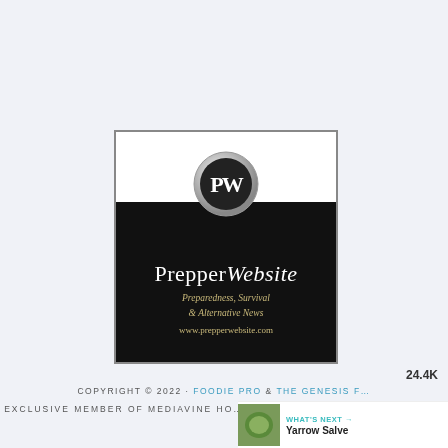[Figure (logo): PrepperWebsite logo: silver PW oval badge on white/black background with text 'PrepperWebsite', 'Preparedness, Survival & Alternative News', 'www.prepperwebsite.com']
[Figure (infographic): Heart/like button (teal circle with heart icon) showing 24.4K count, and a share button below]
COPYRIGHT © 2022 - FOODIE PRO & THE GENESIS F...
EXCLUSIVE MEMBER OF MEDIAVINE HO...
[Figure (infographic): What's Next banner: teal label 'WHAT'S NEXT →', title 'Yarrow Salve', with green product image thumbnail]